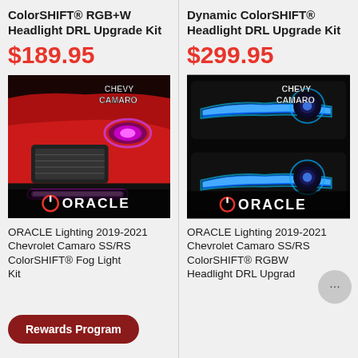ColorSHIFT® RGB+W Headlight DRL Upgrade Kit
$189.95
[Figure (photo): ORACLE Lighting product photo showing a red Chevy Camaro with purple/pink LED fog light and DRL accent, ORACLE logo at bottom, CHEVY CAMARO text overlay]
ORACLE Lighting 2019-2021 Chevrolet Camaro SS/RS ColorSHIFT® Fog Light Kit
$189.95
Dynamic ColorSHIFT® Headlight DRL Upgrade Kit
$299.95
[Figure (photo): ORACLE Lighting product photo showing two Chevy Camaro headlight assemblies with blue LED DRL strips on dark background, ORACLE logo at bottom, CHEVY CAMARO text overlay]
ORACLE Lighting 2019-2021 Chevrolet Camaro SS/RS ColorSHIFT® RGBW Headlight DRL Upgrade Kit
$189.95
Rewards Program